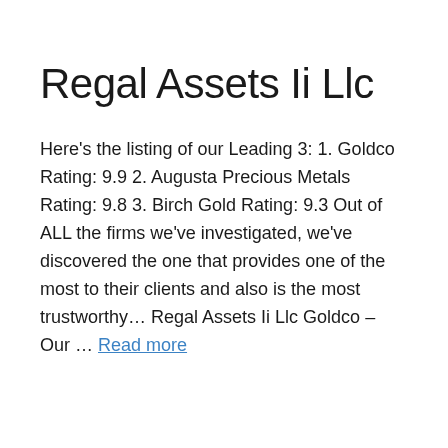Regal Assets Ii Llc
Here's the listing of our Leading 3: 1. Goldco Rating: 9.9 2. Augusta Precious Metals Rating: 9.8 3. Birch Gold Rating: 9.3 Out of ALL the firms we've investigated, we've discovered the one that provides one of the most to their clients and also is the most trustworthy… Regal Assets Ii Llc Goldco – Our … Read more